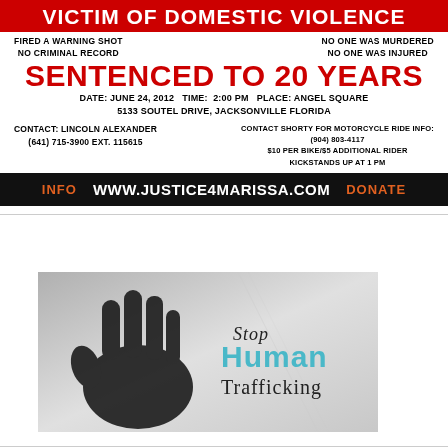VICTIM OF DOMESTIC VIOLENCE
FIRED A WARNING SHOT
NO CRIMINAL RECORD
NO ONE WAS MURDERED
NO ONE WAS INJURED
SENTENCED TO 20 YEARS
DATE: JUNE 24, 2012   TIME:  2:00 PM   PLACE: ANGEL SQUARE
5133 SOUTEL DRIVE, JACKSONVILLE FLORIDA
CONTACT: LINCOLN ALEXANDER
(641) 715-3900 EXT. 115615
CONTACT SHORTY FOR MOTORCYCLE RIDE INFO:
(904) 803-4117
$10 PER BIKE/$5 ADDITIONAL RIDER
KICKSTANDS UP AT 1 PM
INFO   WWW.JUSTICE4MARISSA.COM   DONATE
[Figure (photo): Stop Human Trafficking image: a dark silhouette of a hand pressed against glass, with text reading 'Stop Human Trafficking' where 'Human' is in teal/cyan and other text in dark grey/black.]